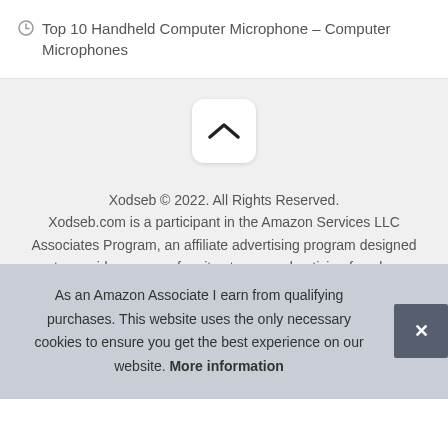Top 10 Handheld Computer Microphone – Computer Microphones
[Figure (other): Scroll-to-top button with upward chevron arrow on a light gray background]
Xodseb © 2022. All Rights Reserved. Xodseb.com is a participant in the Amazon Services LLC Associates Program, an affiliate advertising program designed to provide a means for sites to earn advertising fees by advertising and linking to Amazon.com.
As an Amazon Associate I earn from qualifying purchases. This website uses the only necessary cookies to ensure you get the best experience on our website. More information